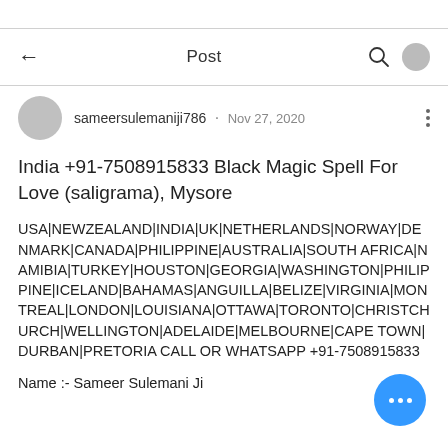Post
sameersulemaniji786 · Nov 27, 2020
India +91-7508915833 Black Magic Spell For Love (saligrama), Mysore
USA|NEWZEALAND|INDIA|UK|NETHERLANDS|NORWAY|DENMARK|CANADA|PHILIPPINE|AUSTRALIA|SOUTH AFRICA|NAMIBIA|TURKEY|HOUSTON|GEORGIA|WASHINGTON|PHILIPPINE|ICELAND|BAHAMAS|ANGUILLA|BELIZE|VIRGINIA|MONTREAL|LONDON|LOUISIANA|OTTAWA|TORONTO|CHRISTCHURCH|WELLINGTON|ADELAIDE|MELBOURNE|CAPE TOWN|DURBAN|PRETORIA CALL OR WHATSAPP +91-7508915833
Name :- Sameer Sulemani Ji